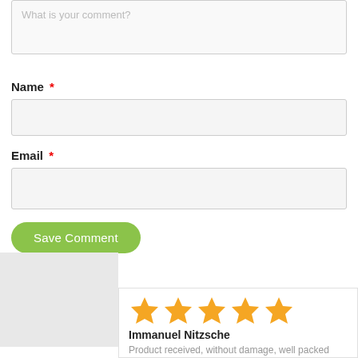What is your comment?
Name *
Email *
Save Comment
[Figure (illustration): User avatar placeholder (grey square)]
[Figure (illustration): 5 orange stars rating]
Immanuel Nitzsche
Product received, without damage, well packed